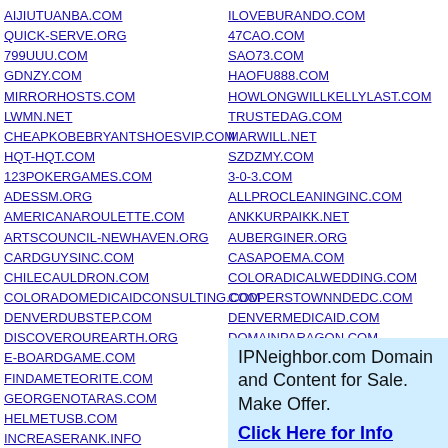AIJIUTUANBA.COM
QUICK-SERVE.ORG
799UUU.COM
GDNZY.COM
MIRRORHOSTS.COM
LWMN.NET
CHEAPKOBEBRYANTSHOESVIP.COM
HQT-HQT.COM
123POKERGAMES.COM
ADESSM.ORG
AMERICANAROULETTE.COM
ARTSCOUNCIL-NEWHAVEN.ORG
CARDGUYSINC.COM
CHILECAULDRON.COM
COLORADOMEDICAIDCONSULTING.COM
DENVERDUBSTEP.COM
DISCOVEROUREARTH.ORG
E-BOARDGAME.COM
FINDAMETEORITE.COM
GEORGENOTARAS.COM
HELMETUSB.COM
INCREASERANK.INFO
JASONROMERO.COM
KNOWLEDGEMASALA.COM
LVCREATIVE.COM
MIKELAW.NET
MORRISARTE.COM
NEEDPOKER.INFO
ILOVEBURANDO.COM
47CAO.COM
SAO73.COM
HAOFU888.COM
HOWLONGWILLKELLYLAST.COM
TRUSTEDAG.COM
MARWILL.NET
SZDZMY.COM
3-0-3.COM
ALLPROCLEANINGINC.COM
ANKKURPAIKK.NET
AUBERGINER.ORG
CASAPOEMA.COM
COLORADICALWEDDING.COM
COOPERSTOWNNDEDC.COM
DENVERMEDICAID.COM
DOMAINPARAGON.COM
EARTHSMARTGAMES.COM
FUNDOOHAIRSTYLES.COM
GRADIENTSOFSIGHT.COM
IFLYCOPTERS.COM
INFO-NINJA.NET
KENOSPEL.COM
LEISURENWEALTH.COM
IPNeighbor.com Domain and Content for Sale. Make Offer. Click Here for Info